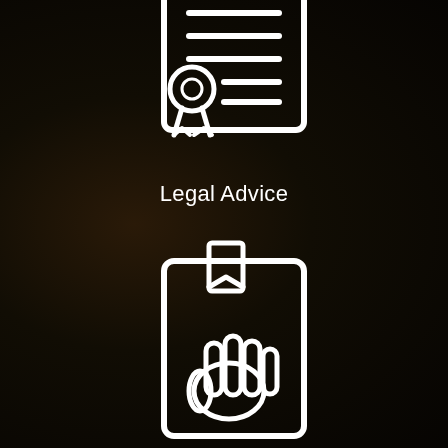[Figure (illustration): White outline icon of a legal document/certificate with horizontal lines representing text and a medal/seal with ribbon at the bottom left corner]
Legal Advice
[Figure (illustration): White outline icon of a book/document with a bookmark tab at the top and a raised hand (stop/oath gesture) in the center]
Bankruptcy